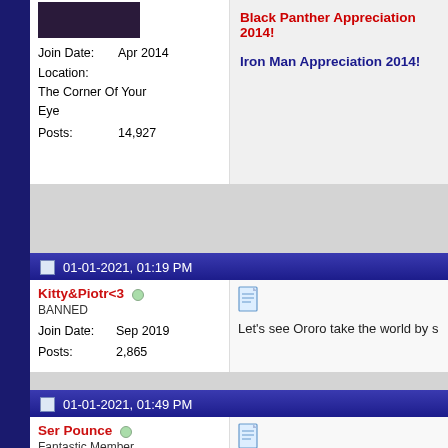Join Date: Apr 2014
Location: The Corner Of Your Eye
Posts: 14,927
Black Panther Appreciation 2014!
Iron Man Appreciation 2014!
01-01-2021, 01:19 PM
Kitty&Piotr<3
BANNED
Join Date: Sep 2019
Posts: 2,865
Let's see Ororo take the world by s
01-01-2021, 01:49 PM
Ser Pounce
Fantastic Member